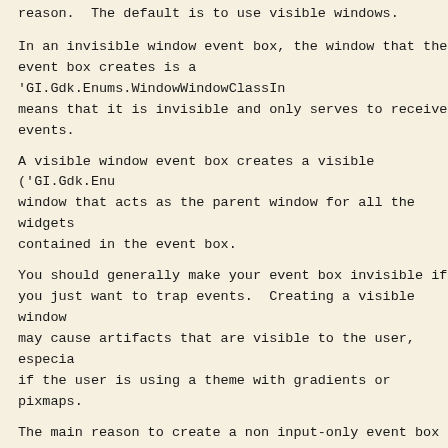reason. The default is to use visible windows.
In an invisible window event box, the window that the event box creates is a 'GI.Gdk.Enums.WindowWindowClassIn means that it is invisible and only serves to receive events.
A visible window event box creates a visible ('GI.Gdk.Enu window that acts as the parent window for all the widgets contained in the event box.
You should generally make your event box invisible if you just want to trap events. Creating a visible window may cause artifacts that are visible to the user, especia if the user is using a theme with gradients or pixmaps.
The main reason to create a non input-only event box is i you want to set the background to a different color or draw on it.
There is one unexpected issue for an invisible event box window below the child. (See 'GI.Gtk.Objects.EventBox.eve Since the input-only window is not an ancestor window of that descendent widgets of the event box create, events o windows aren't propagated up by the windowing system, but The practical effect of this is if an event isn't in the mask for the descendant window (see 'GI.Gtk.Objects.Widge it won't be received by the event box.
This problem doesn't occur for visible event boxes, becau that case, the event box window is actually the ancestor